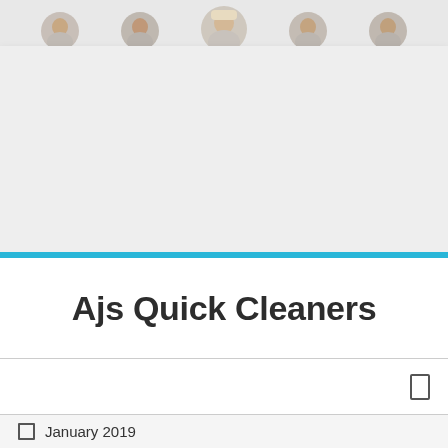[Figure (photo): Group of people peeking over a blank white banner/sign, white background]
Ajs Quick Cleaners
□
□  January 2019